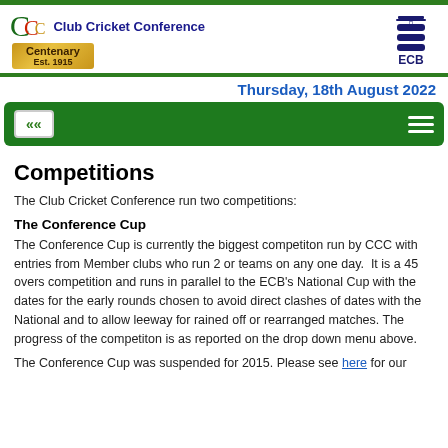[Figure (logo): Club Cricket Conference Centenary logo with Est. 1915 ribbon and ECB three lions logo]
Thursday, 18th August 2022
[Figure (other): Green navigation bar with back arrow button and hamburger menu icon]
Competitions
The Club Cricket Conference run two competitions:
The Conference Cup
The Conference Cup is currently the biggest competiton run by CCC with entries from Member clubs who run 2 or teams on any one day.  It is a 45 overs competition and runs in parallel to the ECB's National Cup with the dates for the early rounds chosen to avoid direct clashes of dates with the National and to allow leeway for rained off or rearranged matches. The progress of the competiton is as reported on the drop down menu above.
The Conference Cup was suspended for 2015. Please see here for our